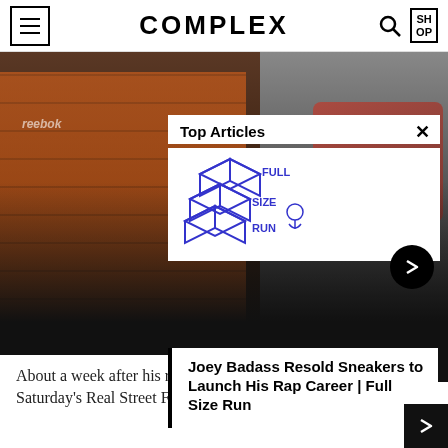COMPLEX
[Figure (photo): Joey Badass in a sneaker store surrounded by stacked shoeboxes including Nike and Reebok boxes, with another person visible in background. A second overlapping image shows sneakers on the right.]
Top Articles
[Figure (logo): Full Size Run logo — stylized stacked boxes with text FULL SIZE RUN in blue outline style]
Joey Badass Resold Sneakers to Launch His Rap Career | Full Size Run
About a week after his release, Rocky appeared at Saturday's Real Street Festival in Anaheim...